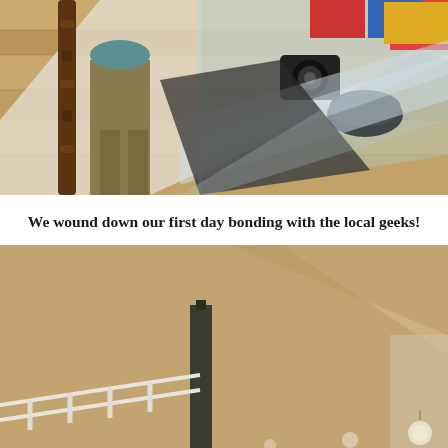[Figure (photo): A photo taken from above showing a wooden chair leg, a person's lower body in khaki pants, a glass table surface with various items including a camera, books, and a black circular object, on a wooden floor.]
We wound down our first day bonding with the local geeks!
[Figure (photo): An indoor photo showing a beige/tan ceiling or wall area with what appears to be a dark vertical post or column, white decorative railing or banister elements, and a light fixture visible in the lower right corner.]